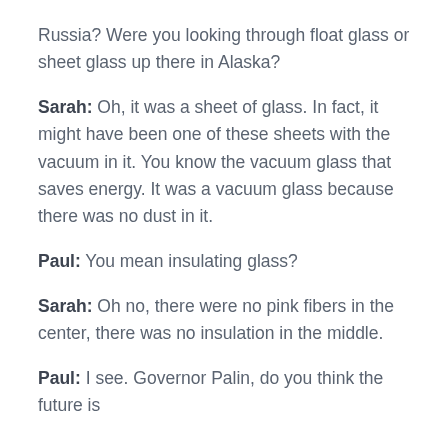Russia? Were you looking through float glass or sheet glass up there in Alaska?
Sarah: Oh, it was a sheet of glass. In fact, it might have been one of these sheets with the vacuum in it. You know the vacuum glass that saves energy. It was a vacuum glass because there was no dust in it.
Paul: You mean insulating glass?
Sarah: Oh no, there were no pink fibers in the center, there was no insulation in the middle.
Paul: I see. Governor Palin, do you think the future is